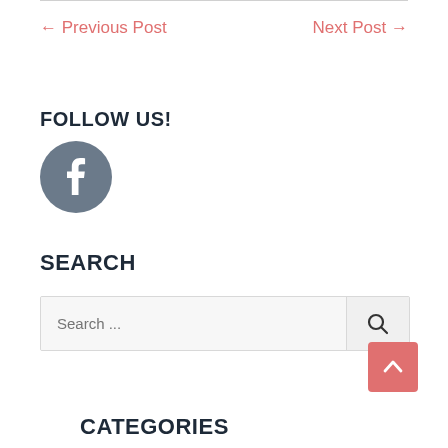← Previous Post
Next Post →
FOLLOW US!
[Figure (logo): Facebook logo icon — grey circle with white 'f' letter]
SEARCH
Search ...
CATEGORIES